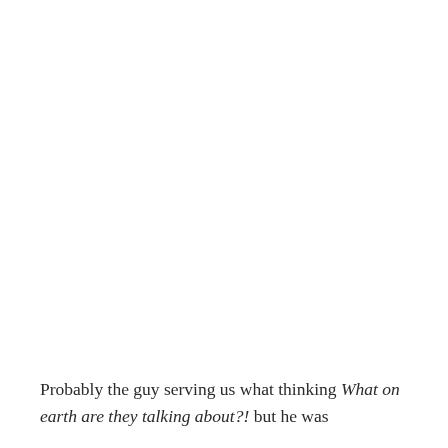Probably the guy serving us what thinking What on earth are they talking about?! but he was